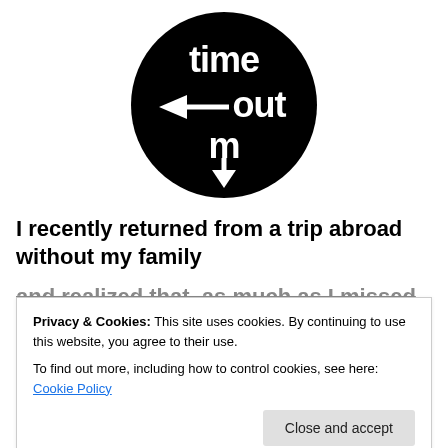[Figure (logo): Time Out logo — circular black badge with white stylized text 'time out m' and arrow/pointer graphic]
I recently returned from a trip abroad without my family
and realized that, as much as I missed them, it was quite
Privacy & Cookies: This site uses cookies. By continuing to use this website, you agree to their use. To find out more, including how to control cookies, see here: Cookie Policy
things and keeps you fresh and happy. Anything in life can